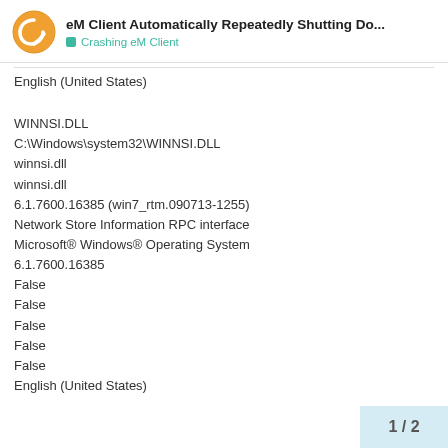eM Client Automatically Repeatedly Shutting Do... | Crashing eM Client
English (United States)
WINNSI.DLL
C:\Windows\system32\WINNSI.DLL
winnsi.dll
winnsi.dll
6.1.7600.16385 (win7_rtm.090713-1255)
Network Store Information RPC interface
Microsoft® Windows® Operating System
6.1.7600.16385
False
False
False
False
False
English (United States)
1 / 2